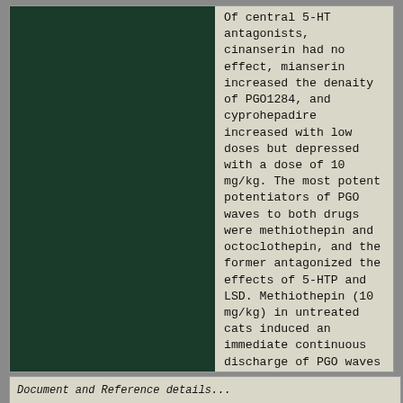[Figure (photo): Dark green/teal image panel on the left side, likely an EEG or neurological recording trace or scientific image]
Of central 5-HT antagonists, cinanserin had no effect, mianserin increased the denaity of PGO1284, and cyprohepadire increased with low doses but depressed with a dose of 10 mg/kg. The most potent potentiators of PGO waves to both drugs were methiothepin and octoclothepin, and the former antagonized the effects of 5-HTP and LSD. Methiothepin (10 mg/kg) in untreated cats induced an immediate continuous discharge of PGO waves lasting several hr.
Document and Reference details (partial, cut off)